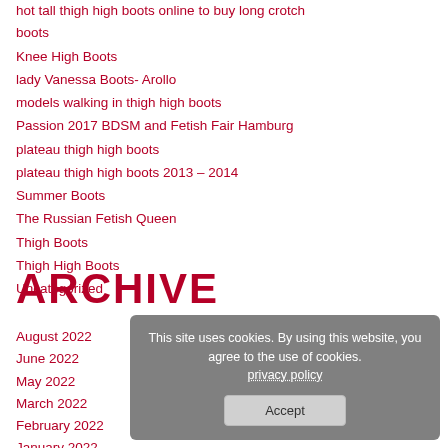hot tall thigh high boots online to buy long crotch boots
Knee High Boots
lady Vanessa Boots- Arollo
models walking in thigh high boots
Passion 2017 BDSM and Fetish Fair Hamburg
plateau thigh high boots
plateau thigh high boots 2013 – 2014
Summer Boots
The Russian Fetish Queen
Thigh Boots
Thigh High Boots
Uncategorized
ARCHIVE
August 2022
June 2022
May 2022
March 2022
February 2022
January 2022
December 2021
November 2021
This site uses cookies. By using this website, you agree to the use of cookies. privacy policy